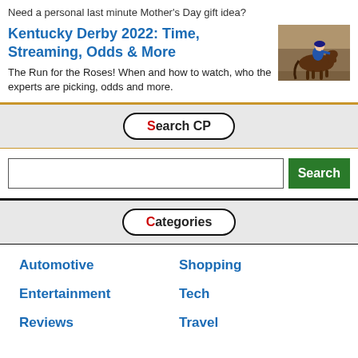Need a personal last minute Mother's Day gift idea?
Kentucky Derby 2022: Time, Streaming, Odds & More
[Figure (photo): A jockey riding a horse at the Kentucky Derby]
The Run for the Roses! When and how to watch, who the experts are picking, odds and more.
Search CP
Categories
Automotive
Shopping
Entertainment
Tech
Reviews
Travel